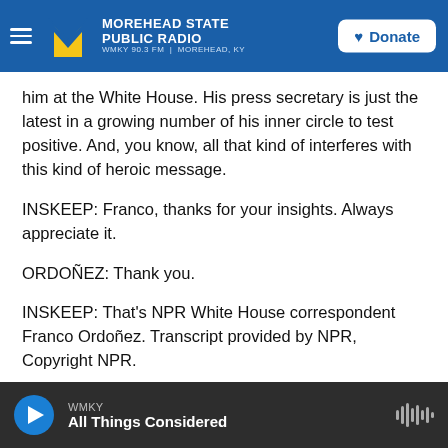Morehead State Public Radio — WMKY 90.3 FM | Morehead, KY — Donate
him at the White House. His press secretary is just the latest in a growing number of his inner circle to test positive. And, you know, all that kind of interferes with this kind of heroic message.
INSKEEP: Franco, thanks for your insights. Always appreciate it.
ORDOÑEZ: Thank you.
INSKEEP: That's NPR White House correspondent Franco Ordoñez. Transcript provided by NPR, Copyright NPR.
WMKY — All Things Considered